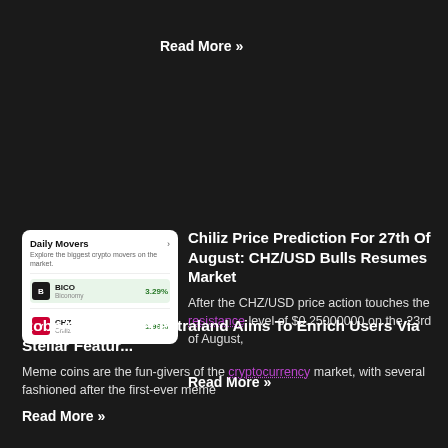Read More »
[Figure (screenshot): Daily Movers widget showing BICO at 3.29% and CHZ at 1.99%]
Chiliz Price Prediction For 27th Of August: CHZ/USD Bulls Resumes Market
After the CHZ/USD price action touches the resistance level of $0.25000000 on the 23rd of August,
Read More »
RoboApe Like Decentraland Aims To Enrich Users Via Stellar Featur...
Meme coins are the fun-givers of the cryptocurrency market, with several fashioned after the first-ever meme
Read More »